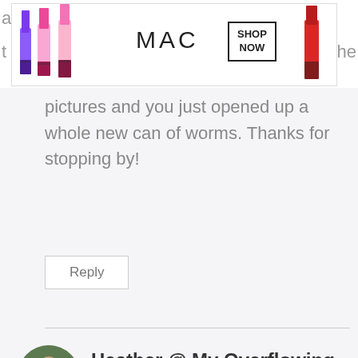[Figure (photo): MAC cosmetics advertisement banner showing lipsticks in purple, pink, and red colors, with MAC logo and SHOP NOW button]
pictures and you just opened up a whole new can of worms. Thanks for stopping by!
Reply
[Figure (photo): Circular avatar photo of Heather, a woman with glasses]
Heather @ My Overflowing Cup says:
[Figure (photo): Victoria's Secret advertisement banner with model, VS logo, SHOP THE COLLECTION text, and SHOP NOW button]
I lo